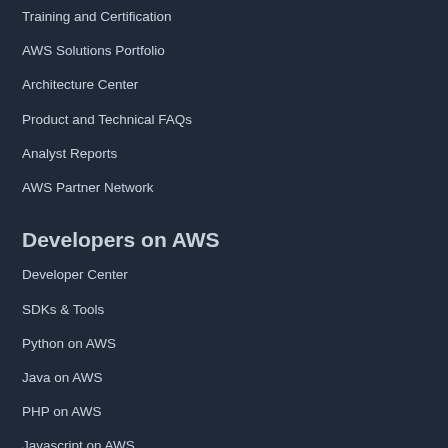Training and Certification
AWS Solutions Portfolio
Architecture Center
Product and Technical FAQs
Analyst Reports
AWS Partner Network
Developers on AWS
Developer Center
SDKs & Tools
Python on AWS
Java on AWS
PHP on AWS
Javascript on AWS
Help